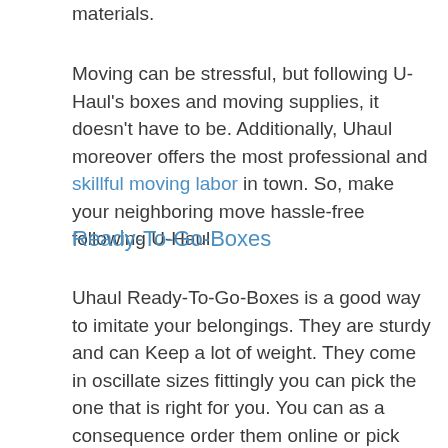materials.
Moving can be stressful, but following U-Haul's boxes and moving supplies, it doesn't have to be. Additionally, Uhaul moreover offers the most professional and skillful moving labor in town. So, make your neighboring move hassle-free following U-Haul.
Ready-To-Go-Boxes
Uhaul Ready-To-Go-Boxes is a good way to imitate your belongings. They are sturdy and can Keep a lot of weight. They come in oscillate sizes fittingly you can pick the one that is right for you. You can as a consequence order them online or pick them going on at a Uhaul location. They are a good option for those who are moving to a new house or